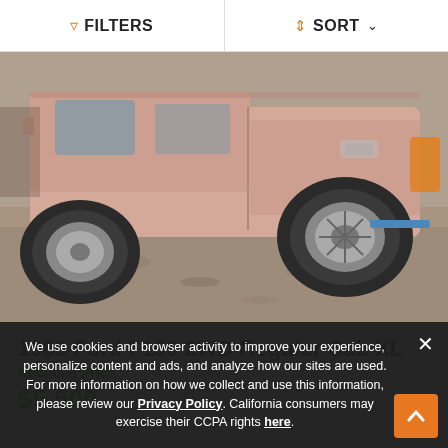FILTERS  SORT
[Figure (photo): Partial side view of a 1988 Ford F150 2WD Regular Cab XL pickup truck in pink/salmon color, parked on dirt ground. The rear wheel, bed, and cab are visible.]
1988 Ford F150 2WD Regular Cab XL
Reduced Price
$5,500
We use cookies and browser activity to improve your experience, personalize content and ads, and analyze how our sites are used. For more information on how we collect and use this information, please review our Privacy Policy. California consumers may exercise their CCPA rights here.